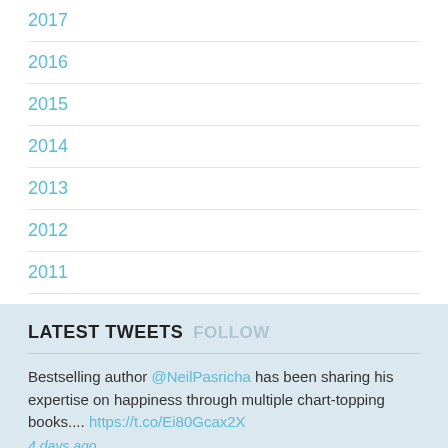2017
2016
2015
2014
2013
2012
2011
LATEST TWEETS FOLLOW
Bestselling author @NeilPasricha has been sharing his expertise on happiness through multiple chart-topping books.... https://t.co/Ei80Gcax2X
4 days ago